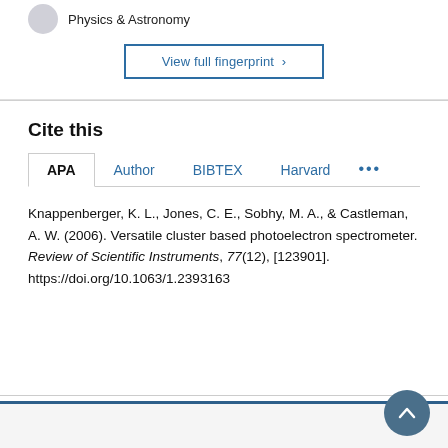Physics & Astronomy
View full fingerprint >
Cite this
APA | Author | BIBTEX | Harvard | ...
Knappenberger, K. L., Jones, C. E., Sobhy, M. A., & Castleman, A. W. (2006). Versatile cluster based photoelectron spectrometer. Review of Scientific Instruments, 77(12), [123901]. https://doi.org/10.1063/1.2393163